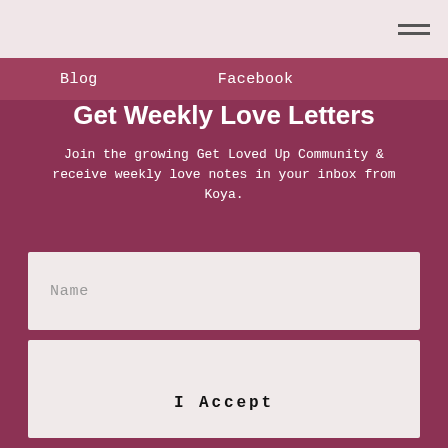☰
Blog    Facebook
Get Weekly Love Letters
Join the growing Get Loved Up Community & receive weekly love notes in your inbox from Koya.
Name
Email Address
I Accept